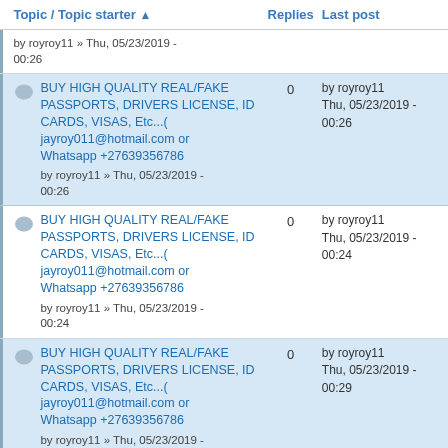| Topic / Topic starter ▲ | Replies | Last post |
| --- | --- | --- |
| by royroy11 » Thu, 05/23/2019 - 00:26 |  |  |
| BUY HIGH QUALITY REAL/FAKE PASSPORTS, DRIVERS LICENSE, ID CARDS, VISAS, Etc...( jayroy011@hotmail.com or Whatsapp +27639356786
by royroy11 » Thu, 05/23/2019 - 00:26 | 0 | by royroy11 Thu, 05/23/2019 - 00:26 |
| BUY HIGH QUALITY REAL/FAKE PASSPORTS, DRIVERS LICENSE, ID CARDS, VISAS, Etc...( jayroy011@hotmail.com or Whatsapp +27639356786
by royroy11 » Thu, 05/23/2019 - 00:24 | 0 | by royroy11 Thu, 05/23/2019 - 00:24 |
| BUY HIGH QUALITY REAL/FAKE PASSPORTS, DRIVERS LICENSE, ID CARDS, VISAS, Etc...( jayroy011@hotmail.com or Whatsapp +27639356786
by royroy11 » Thu, 05/23/2019 - | 0 | by royroy11 Thu, 05/23/2019 - 00:29 |